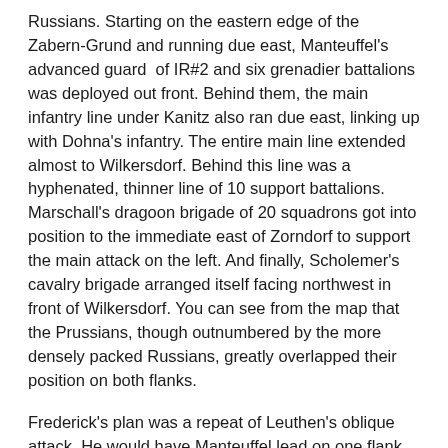Russians. Starting on the eastern edge of the Zabern-Grund and running due east, Manteuffel's advanced guard of IR#2 and six grenadier battalions was deployed out front. Behind them, the main infantry line under Kanitz also ran due east, linking up with Dohna's infantry. The entire main line extended almost to Wilkersdorf. Behind this line was a hyphenated, thinner line of 10 support battalions. Marschall's dragoon brigade of 20 squadrons got into position to the immediate east of Zorndorf to support the main attack on the left. And finally, Scholemer's cavalry brigade arranged itself facing northwest in front of Wilkersdorf. You can see from the map that the Prussians, though outnumbered by the more densely packed Russians, greatly overlapped their position on both flanks.
Frederick's plan was a repeat of Leuthen's oblique attack. He would have Manteuffel lead on one flank, supported by Kanitz. Dohna as to follow on this with an oblique advance of his own on the Observation Corps, around the right of the Stein Busch. The cavalry would support and be ready to exploit the break in the Russian line on either flank. It was a simple plan, thoroughly practiced. But...oh, we'll see.